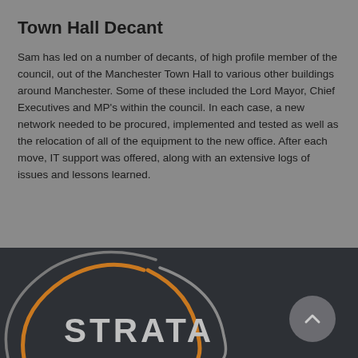Town Hall Decant
Sam has led on a number of decants, of high profile member of the council, out of the Manchester Town Hall to various other buildings around Manchester. Some of these included the Lord Mayor, Chief Executives and MP's within the council. In each case, a new network needed to be procured, implemented and tested as well as the relocation of all of the equipment to the new office. After each move, IT support was offered, along with an extensive logs of issues and lessons learned.
[Figure (logo): Strata logo with orange and grey circular arcs and white text reading STRATA, on a dark background. An upward-pointing chevron button is in the bottom right.]